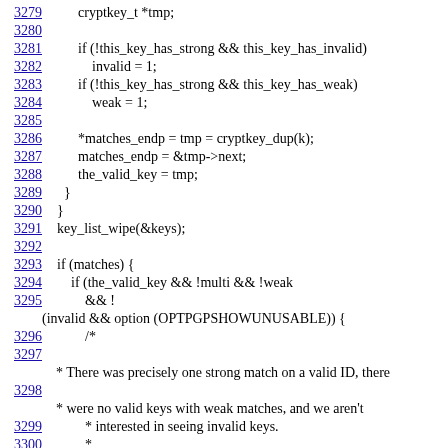3279    cryptkey_t *tmp;
3280
3281    if (!this_key_has_strong && this_key_has_invalid)
3282        invalid = 1;
3283    if (!this_key_has_strong && this_key_has_weak)
3284        weak = 1;
3285
3286    *matches_endp = tmp = cryptkey_dup(k);
3287    matches_endp = &tmp->next;
3288    the_valid_key = tmp;
3289    }
3290  }
3291  key_list_wipe(&keys);
3292
3293  if (matches) {
3294      if (the_valid_key && !multi && !weak
3295          && !
(invalid && option (OPTPGPSHOWUNUSABLE)) {
3296          /*
3297
    * There was precisely one strong match on a valid ID, there
3298
    * were no valid keys with weak matches, and we aren't
3299          * interested in seeing invalid keys.
3300          *